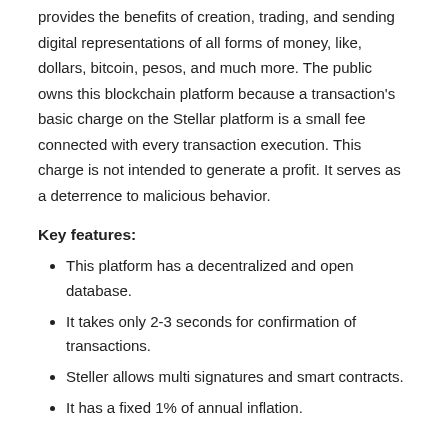provides the benefits of creation, trading, and sending digital representations of all forms of money, like, dollars, bitcoin, pesos, and much more. The public owns this blockchain platform because a transaction's basic charge on the Stellar platform is a small fee connected with every transaction execution. This charge is not intended to generate a profit. It serves as a deterrence to malicious behavior.
Key features:
This platform has a decentralized and open database.
It takes only 2-3 seconds for confirmation of transactions.
Steller allows multi signatures and smart contracts.
It has a fixed 1% of annual inflation.